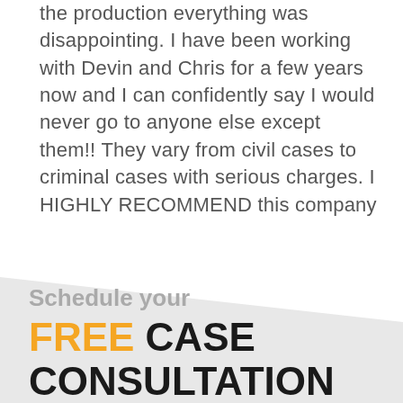the production everything was disappointing. I have been working with Devin and Chris for a few years now and I can confidently say I would never go to anyone else except them!! They vary from civil cases to criminal cases with serious charges. I HIGHLY RECOMMEND this company & these amazing gentlemen.
Schedule your FREE CASE CONSULTATION